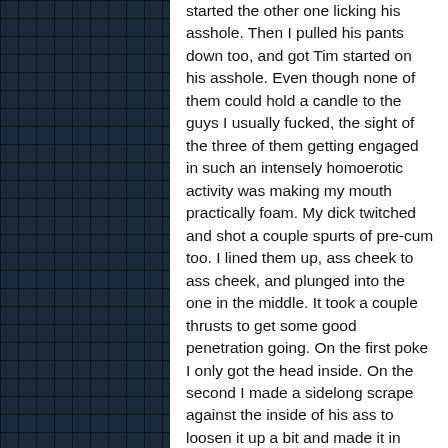[Figure (illustration): Dark teal/navy blue grid pattern tile mosaic filling the left third of the page]
started the other one licking his asshole. Then I pulled his pants down too, and got Tim started on his asshole. Even though none of them could hold a candle to the guys I usually fucked, the sight of the three of them getting engaged in such an intensely homoerotic activity was making my mouth practically foam. My dick twitched and shot a couple spurts of pre-cum too. I lined them up, ass cheek to ass cheek, and plunged into the one in the middle. It took a couple thrusts to get some good penetration going. On the first poke I only got the head inside. On the second I made a sidelong scrape against the inside of his ass to loosen it up a bit and made it in about four inches. After that I made it in another inch or so on every thrust. The sweet resistance his ass gave was as delicious as the sight of